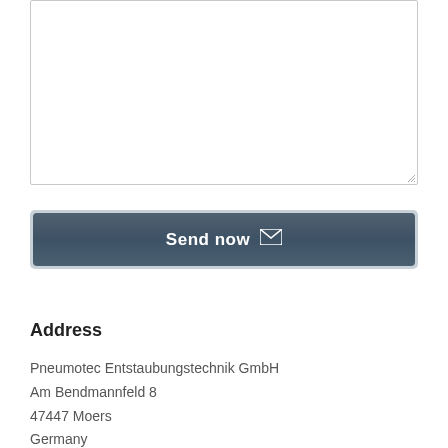[Figure (screenshot): A textarea input box with a light gray border and resize handle in the bottom-right corner]
[Figure (screenshot): A 'Send now' button with envelope icon, styled with a dark blue-gray gradient background and rounded corners]
Address
Pneumotec Entstaubungstechnik GmbH
Am Bendmannfeld 8
47447 Moers
Germany